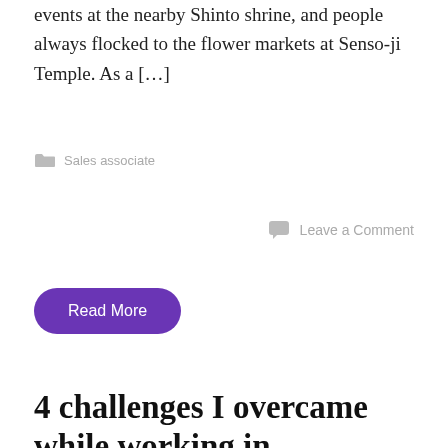events at the nearby Shinto shrine, and people always flocked to the flower markets at Senso-ji Temple. As a […]
Sales associate
Leave a Comment
Read More
4 challenges I overcame while working in...
[Figure (photo): Partial photo showing a blue sky with what appears to be a tall structure or tower at the bottom right]